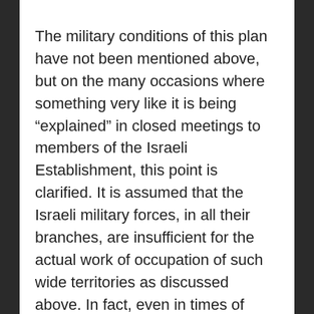The military conditions of this plan have not been mentioned above, but on the many occasions where something very like it is being “explained” in closed meetings to members of the Israeli Establishment, this point is clarified. It is assumed that the Israeli military forces, in all their branches, are insufficient for the actual work of occupation of such wide territories as discussed above. In fact, even in times of intense Palestinian “unrest” on the West Bank, the forces of the Israeli Army are stretched out too much. The answer to that is the method of ruling by means of “Haddad forces” or of “Village Associations” (also known as “Village